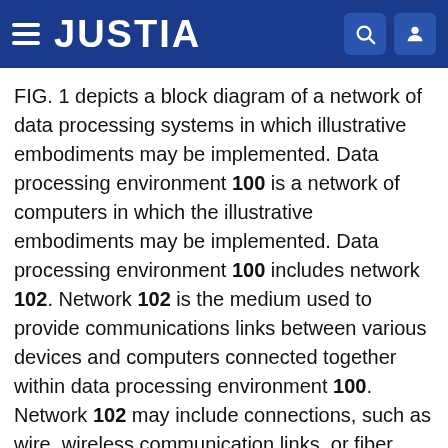JUSTIA
FIG. 1 depicts a block diagram of a network of data processing systems in which illustrative embodiments may be implemented. Data processing environment 100 is a network of computers in which the illustrative embodiments may be implemented. Data processing environment 100 includes network 102. Network 102 is the medium used to provide communications links between various devices and computers connected together within data processing environment 100. Network 102 may include connections, such as wire, wireless communication links, or fiber optic cables.
Clients or servers are only example roles of certain data processing systems connected to network 102 and are not intended to exclude other configurations or roles for these data processing systems. Server 104 and server 106 couple to network 102 along with storage